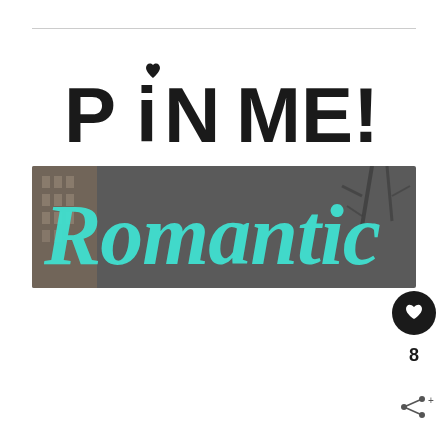PIN ME!
[Figure (photo): A photo with dark/grey urban background showing a building on the left and tree branches on the right, overlaid with large cyan/turquoise italic script text reading 'Romantic']
8
[Figure (illustration): Heart icon button (dark circle with white heart) and share icon button (white circle with share symbol) and count '8']